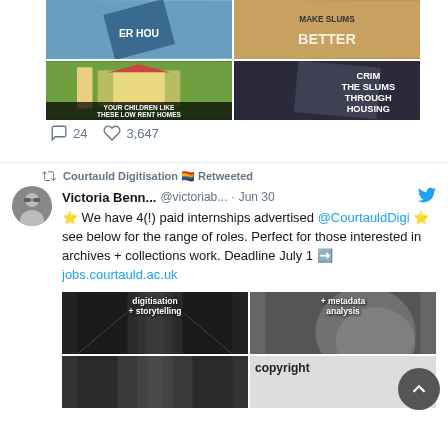[Figure (screenshot): Twitter screenshot showing bottom of a tweet with image grid (vintage housing posters) and action bar showing 24 comments and 3,647 likes, followed by a retweet by Courtauld Digitisation with rainbow flag emoji, then a tweet by Victoria Benn (@victoriab...) dated Jun 30 about 4 paid internships at @CourtauldDigi, with link to jobs.courtauld.ac.uk, and a second image grid showing digitisation internship images]